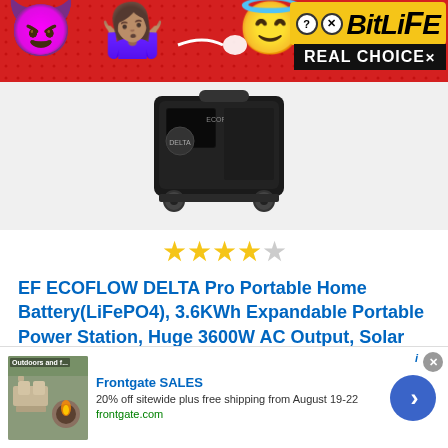[Figure (illustration): Top banner ad for BitLife game with devil emoji, person emoji, angel emoji, BitLife logo with yellow background, and REAL CHOICE text on dark background]
[Figure (photo): EF ECOFLOW DELTA Pro portable power station product image, black unit with wheels on grey background]
[Figure (other): 4 out of 5 star rating display in golden yellow stars]
EF ECOFLOW DELTA Pro Portable Home Battery(LiFePO4), 3.6KWh Expandable Portable Power Station, Huge 3600W AC Output, Solar Generator (Solar Panel Not Included)
[Figure (illustration): Bottom advertisement for Frontgate SALES showing outdoor patio furniture with fire pit. Text: Frontgate SALES, 20% off sitewide plus free shipping from August 19-22, frontgate.com]